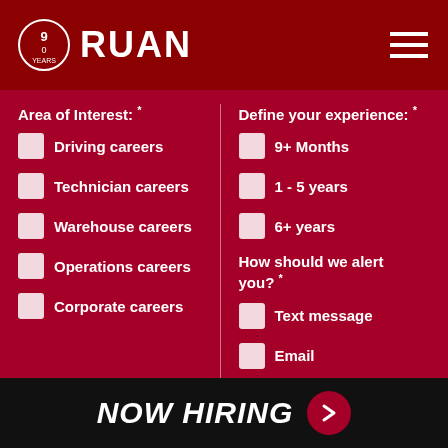RUAN
Area of Interest: * Driving careers, Technician careers, Warehouse careers, Operations careers, Corporate careers
Define your experience: * 9+ Months, 1 - 5 years, 6+ years
How should we alert you? * Text message, Email
First Name
Last Name
NOW HIRING